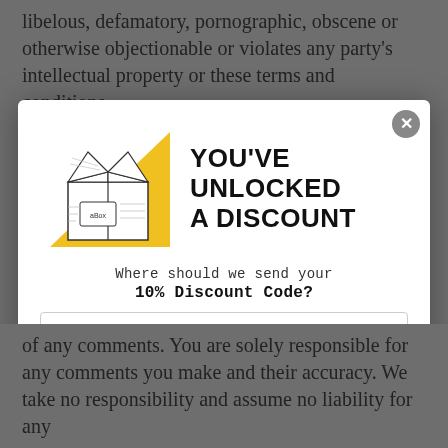libelous, defamatory, pornographic, obscene or otherwise objectionable or violates any party's intellectual property or these terms and conditions.
[Figure (infographic): Popup modal with a discount offer. Contains an open cardboard box illustration with a yellow triangle background, bold text 'YOU'VE UNLOCKED A DISCOUNT', subtext 'Where should we send your 10% Discount Code?', an email input field, a green 'Get 10% Off' button, and a 'No, thanks' link. A close (X) button in the top-right corner.]
of any comments. You are solely responsible for any comments you make and their accuracy. We take no responsibility and assume no liability for any